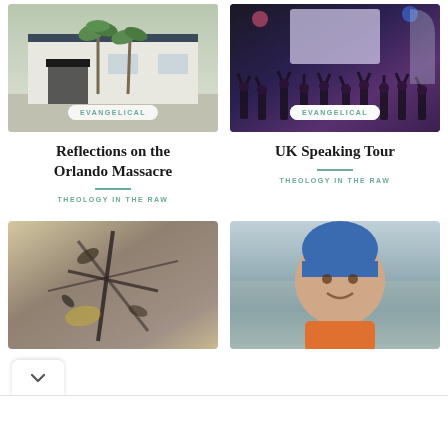[Figure (photo): White building exterior with palm trees, church or community center]
EVANGELICAL
Reflections on the Orlando Massacre
THEOLOGY IN THE RAW
[Figure (photo): Worship service interior with audience raising hands, dramatic lighting]
EVANGELICAL
UK Speaking Tour
THEOLOGY IN THE RAW
[Figure (photo): Black and white artistic illustration with cross and floral elements]
[Figure (photo): Man in blue beanie outdoors in snowy landscape, smiling]